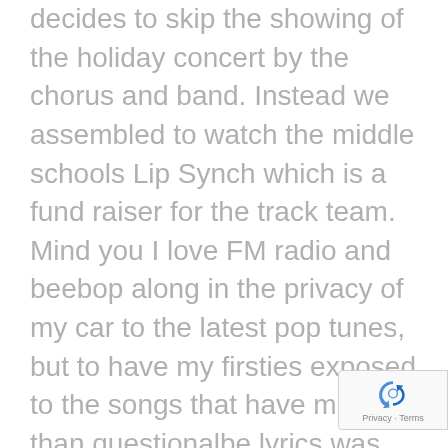decides to skip the showing of the holiday concert by the chorus and band. Instead we assembled to watch the middle schools Lip Synch which is a fund raiser for the track team. Mind you I love FM radio and beebop along in the privacy of my car to the latest pop tunes, but to have my firsties exposed to the songs that have more than questionalbe lyrics was actually uncomfortable. And this was INSTEAD of watching our lovely chorus and band. Shame on my administaters for heis decision. I printed out he lyrics ot some of the songs and presented them to
[Figure (other): reCAPTCHA badge with blue recycling-arrow logo and 'Privacy - Terms' text]